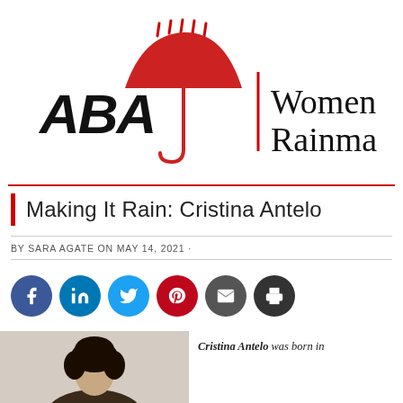[Figure (logo): ABA Women Rainmakers logo: red umbrella with rain drops above, ABA letters on left, vertical red line divider, 'Women Rainmakers' text on right]
Making It Rain: Cristina Antelo
BY SARA AGATE ON MAY 14, 2021 ·
[Figure (infographic): Social sharing icons: Facebook (blue), LinkedIn (blue), Twitter (cyan), Pinterest (red), Email (dark grey), Print (dark grey)]
[Figure (photo): Photo of Cristina Antelo, a woman with dark curly hair]
Cristina Antelo was born in